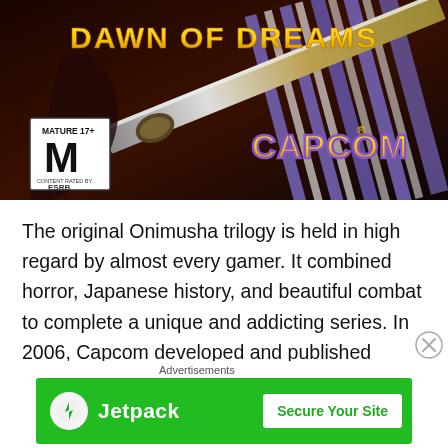[Figure (photo): Video game box art for 'Onimusha: Dawn of Dreams' by Capcom. Shows golden stylized text 'Dawn of Dreams' at top, a katana blade, dark atmospheric background, ESRB Mature 17+ rating box in lower left, and Capcom logo in golden/purple text at lower right.]
The original Onimusha trilogy is held in high regard by almost every gamer. It combined horror, Japanese history, and beautiful combat to complete a unique and addicting series. In 2006, Capcom developed and published Onimusha Dawn of Dreams, a continuation of the universe but set 15 years later after Onimusha 3.
[Figure (screenshot): Jetpack advertisement banner. Green background with Jetpack logo (lightning bolt in circle) and text 'Jetpack', plus a white button saying 'Secure Your Site' in green text. 'Advertisements' label above.]